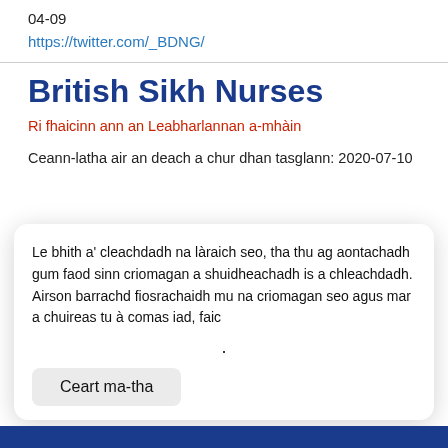04-09
https://twitter.com/_BDNG/
British Sikh Nurses
Ri fhaicinn ann an Leabharlannan a-mhàin
Ceann-latha air an deach a chur dhan tasglann: 2020-07-10
Le bhith a' cleachdadh na làraich seo, tha thu ag aontachadh gum faod sinn criomagan a shuidheachadh is a chleachdadh. Airson barrachd fiosrachaidh mu na criomagan seo agus mar a chuireas tu à comas iad, faic
.
Ceart ma-tha